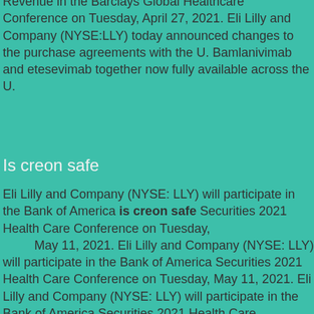Revenue in the Barclays Global Healthcare Conference on Tuesday, April 27, 2021. Eli Lilly and Company (NYSE:LLY) today announced changes to the purchase agreements with the U. Bamlanivimab and etesevimab together now fully available across the U.
Is creon safe
Eli Lilly and Company (NYSE: LLY) will participate in the Bank of America is creon safe Securities 2021 Health Care Conference on Tuesday,
        May 11, 2021. Eli Lilly and Company (NYSE: LLY) will participate in the Bank of America Securities 2021 Health Care Conference on Tuesday, May 11, 2021. Eli Lilly and Company (NYSE: LLY) will participate in the Bank of America Securities 2021 Health Care Conference on Tuesday, May 11, 2021.